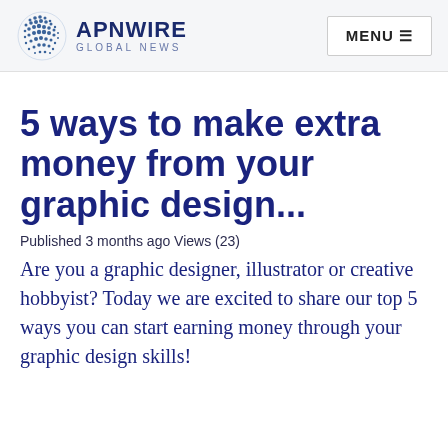APNWIRE GLOBAL NEWS | MENU
5 ways to make extra money from your graphic design...
Published 3 months ago Views (23)
Are you a graphic designer, illustrator or creative hobbyist? Today we are excited to share our top 5 ways you can start earning money through your graphic design skills!